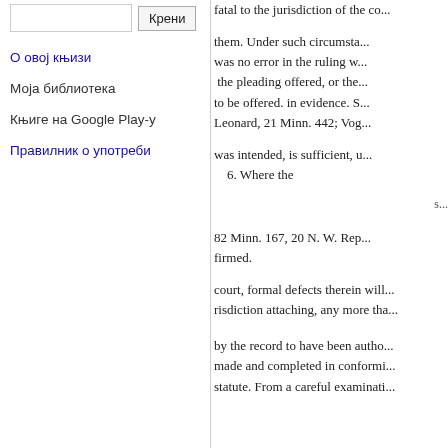fatal to the jurisdiction of the co...
them. Under such circumsta... was no error in the ruling w... the pleading offered, or the... to be offered. in evidence. S... Leonard, 21 Minn. 442; Vog...
was intended, is sufficient, u... 6. Where the
82 Minn. 167, 20 N. W. Rep... firmed.
court, formal defects therein will... risdiction attaching, any more tha...
by the record to have been autho... made and completed in conformi... statute. From a careful examinati...
О овој књизи
Моја библиотека
Књиге на Google Play-у
Правилник о употреби